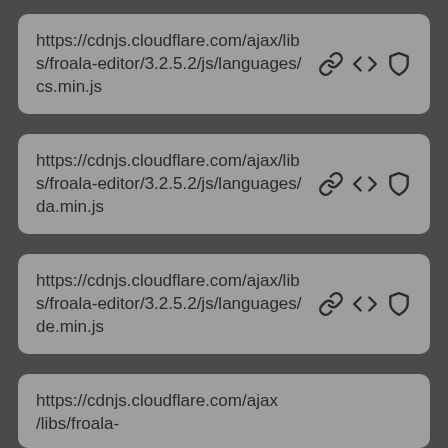https://cdnjs.cloudflare.com/ajax/libs/froala-editor/3.2.5.2/js/languages/cs.min.js
https://cdnjs.cloudflare.com/ajax/libs/froala-editor/3.2.5.2/js/languages/da.min.js
https://cdnjs.cloudflare.com/ajax/libs/froala-editor/3.2.5.2/js/languages/de.min.js
https://cdnjs.cloudflare.com/ajax/libs/froala-editor/3.2.5.2/js/languages/